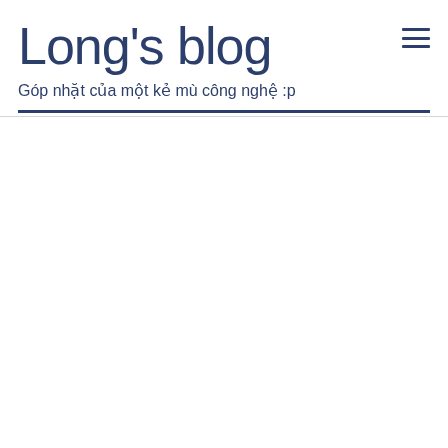Long's blog
Góp nhặt của một kẻ mù công nghệ :p